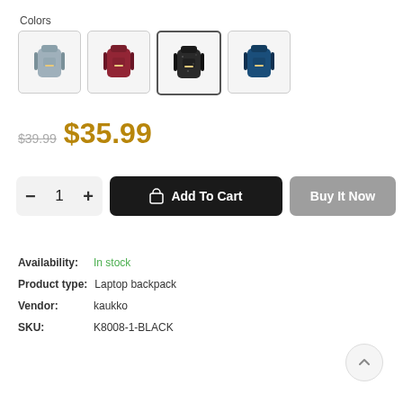Colors
[Figure (other): Four color variant swatches of a backpack: gray, red/maroon, black (selected), and navy blue]
$39.99  $35.99
− 1 +   Add To Cart   Buy It Now
Availability:  In stock
Product type:  Laptop backpack
Vendor:  kaukko
SKU:  K8008-1-BLACK